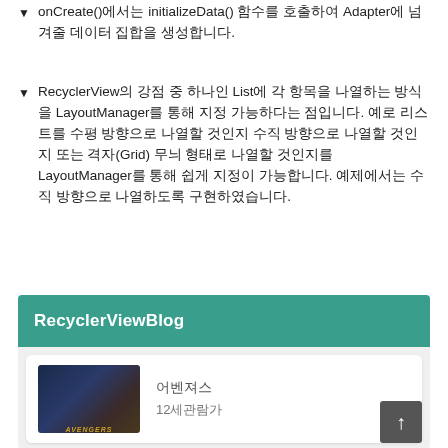onCreate()에서는 initializeData() 함수를 호출하여 Adapter에 넘겨줄 데이터 집합을 생성합니다.
RecyclerView의 강점 중 하나인 List에 각 항목을 나열하는 방식을 LayoutManager를 통해 지정 가능하다는 점입니다. 예로 리스트를 수평 방향으로 나열할 것인지 수직 방향으로 나열할 것인지 또는 격자(Grid) 무늬 형태로 나열할 것인지를 LayoutManager를 통해 쉽게 지정이 가능합니다. 예제에서는 수직 방향으로 나열하도록 구현하였습니다.
[Figure (screenshot): Android app screenshot showing RecyclerViewBlog app with teal toolbar and a list card showing Avengers movie with title '어벤져스' and rating '12세관람가'. A dark scroll-to-top FAB button is visible in the bottom right.]